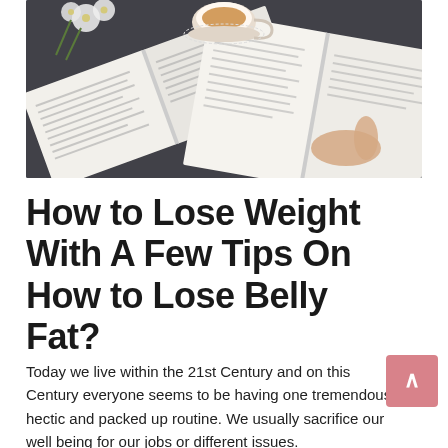[Figure (photo): Overhead view of open books on a dark table with white daisy flowers and a cup of tea. A person's hands are visible holding one of the books.]
How to Lose Weight With A Few Tips On How to Lose Belly Fat?
Today we live within the 21st Century and on this Century everyone seems to be having one tremendous hectic and packed up routine. We usually sacrifice our well being for our jobs or different issues.